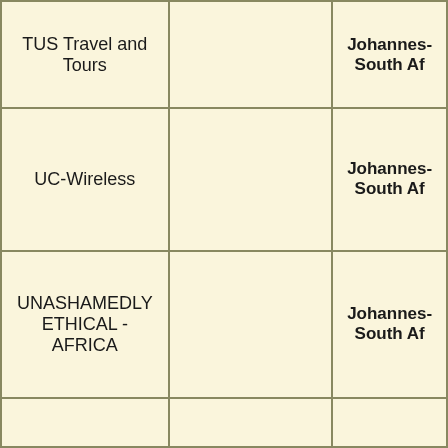| TUS Travel and Tours |  | Johannes-
South Af |
| UC-Wireless |  | Johannes-
South Af |
| UNASHAMEDLY ETHICAL - AFRICA |  | Johannes-
South Af |
|  |  |  |